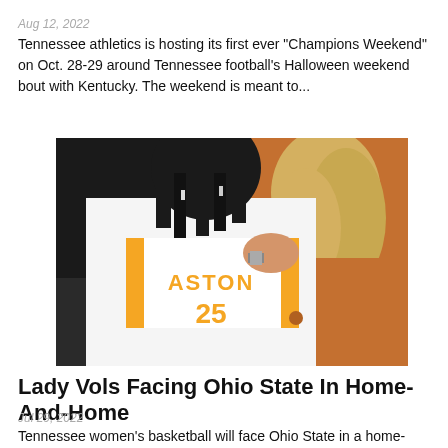Aug 12, 2022
Tennessee athletics is hosting its first ever "Champions Weekend" on Oct. 28-29 around Tennessee football's Halloween weekend bout with Kentucky. The weekend is meant to...
[Figure (photo): A basketball player wearing a Tennessee jersey (number 25, name ASTON) being guided by a coach in an orange jacket, viewed from behind.]
Lady Vols Facing Ohio State In Home-And-Home
Jul 29, 2022
Tennessee women's basketball will face Ohio State in a home-and-